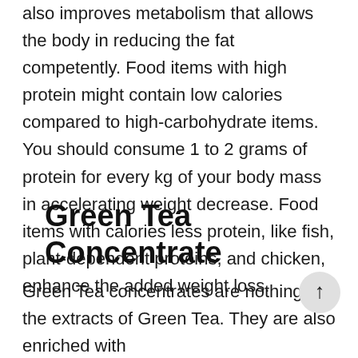also improves metabolism that allows the body in reducing the fat competently. Food items with high protein might contain low calories compared to high-carbohydrate items. You should consume 1 to 2 grams of protein for every kg of your body mass in accelerating weight decrease. Food items with calories less protein, like fish, plant-dependent proteins, and chicken, enhance the added weight loss.
Green Tea Concentrate
Green Tea concentrates are nothing but the extracts of Green Tea. They are also enriched with